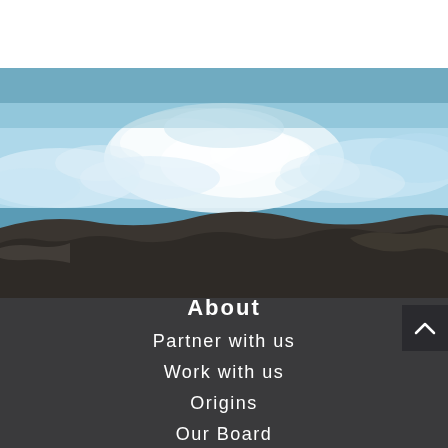[Figure (photo): Aerial view of ocean waves crashing on a dark sandy beach, with white foam and blue-green water in the upper portion fading to a dark brown/grey sandy shoreline at the bottom.]
About
Partner with us
Work with us
Origins
Our Board
Our Team